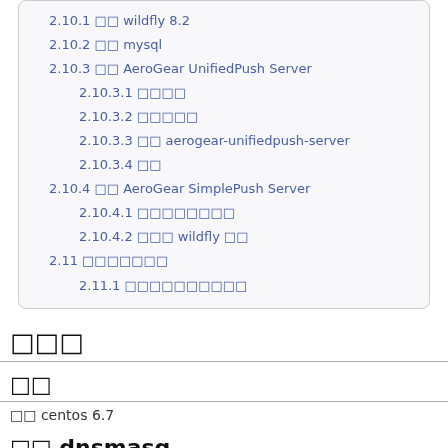2.10.1 □□ wildfly 8.2
2.10.2 □□ mysql
2.10.3 □□ AeroGear UnifiedPush Server
2.10.3.1 □□□□
2.10.3.2 □□□□□
2.10.3.3 □□ aerogear-unifiedpush-server
2.10.3.4 □□
2.10.4 □□ AeroGear SimplePush Server
2.10.4.1 □□□□□□□□
2.10.4.2 □□□ wildfly □□
2.11 □□□□□□□
2.11.1 □□□□□□□□□□
□□□
□□
□□ centos 6.7
□□ dnsmasq